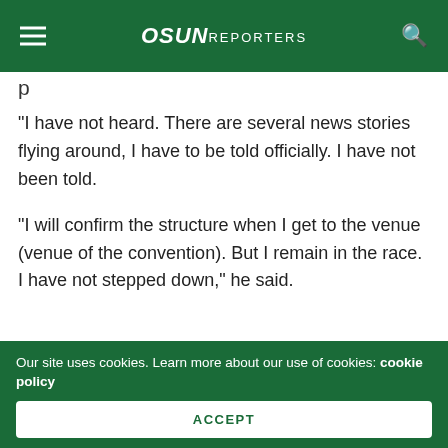OSUN REPORTERS
“I have not heard. There are several news stories flying around, I have to be told officially. I have not been told.
“I will confirm the structure when I get to the venue (venue of the convention). But I remain in the race. I have not stepped down,” he said.
[Figure (infographic): Share This section with Facebook, Twitter, and WhatsApp buttons]
Our site uses cookies. Learn more about our use of cookies: cookie policy
ACCEPT